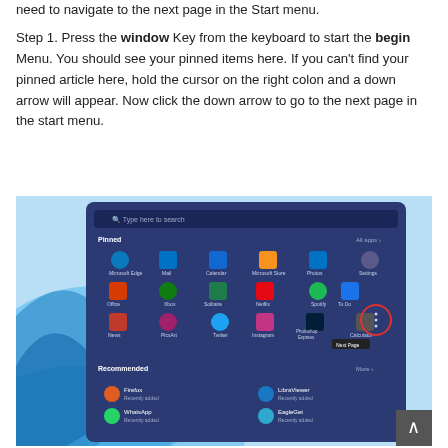need to navigate to the next page in the Start menu.
Step 1. Press the window Key from the keyboard to start the begin Menu. You should see your pinned items here. If you can't find your pinned article here, hold the cursor on the right colon and a down arrow will appear. Now click the down arrow to go to the next page in the start menu.
[Figure (screenshot): Windows 11 Start menu screenshot showing pinned apps (Microsoft Edge, Mail, Calendar, Microsoft Store, Photos, Settings, Office, Xbox, Solitaire, Spotify, Netflix, To Do, News, PicsArt, Twitter, Instagram, Photoshop Express, Calculator) and Recommended section with Firefox, LibraViewer, WhatsApp, EagleGet. A red circle highlights the 'Next Page' dots button.]